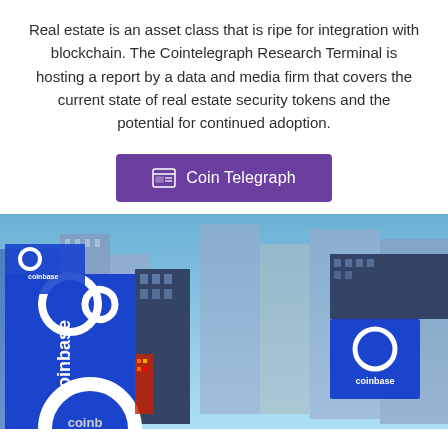Real estate is an asset class that is ripe for integration with blockchain. The Cointelegraph Research Terminal is hosting a report by a data and media firm that covers the current state of real estate security tokens and the potential for continued adoption.
[Figure (other): Purple button labeled 'Coin Telegraph' with a newspaper/document icon]
[Figure (photo): Photo of city skyscrapers with large Coinbase branding banners displayed on buildings, taken from a low angle looking up.]